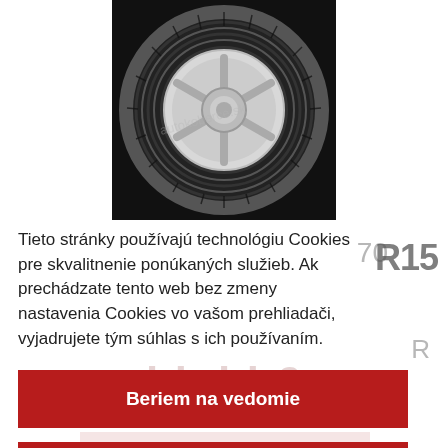[Figure (photo): Photograph of a van/commercial tire on a white rim against a black background, showing tread pattern. Watermark text visible.]
Tieto stránky používajú technológiu Cookies pre skvalitnenie ponúkaných služieb. Ak prechádzate tento web bez zmeny nastavenia Cookies vo vašom prehliadači, vyjadrujete tým súhlas s ich používaním.
Beriem na vedomie